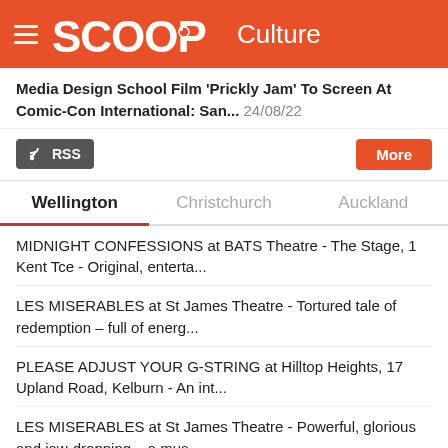SCOOP Culture
Media Design School Film 'Prickly Jam' To Screen At Comic-Con International: San... 24/08/22
RSS  More
Wellington | Christchurch | Auckland
MIDNIGHT CONFESSIONS at BATS Theatre - The Stage, 1 Kent Tce - Original, enterta...
LES MISERABLES at St James Theatre - Tortured tale of redemption – full of energ...
PLEASE ADJUST YOUR G-STRING at Hilltop Heights, 17 Upland Road, Kelburn - An int...
LES MISERABLES at St James Theatre - Powerful, glorious and jaw-dropping – a mus...
THE TROJAN WAR at BATS Theatre – The Stage, 1 Kent Terrace, Return Season - Dyna...
MAN LESSONS THE LIVE SHOW at BATS Theatre, The Dome, 1 Kent Tce - An exceptional...
CELESTIAL NOBODIES at BATS Theatre - The Stage, 1 Kent Tce - Excellent honor and